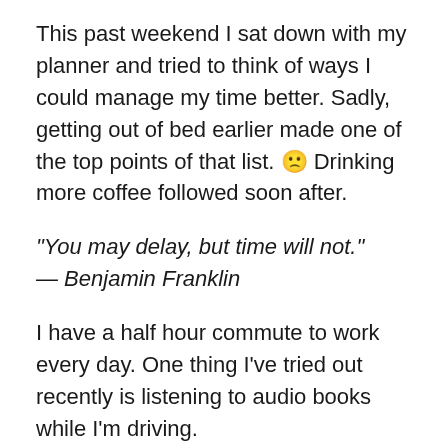This past weekend I sat down with my planner and tried to think of ways I could manage my time better. Sadly, getting out of bed earlier made one of the top points of that list. 🙁 Drinking more coffee followed soon after.
“You may delay, but time will not.”
— Benjamin Franklin
I have a half hour commute to work every day. One thing I've tried out recently is listening to audio books while I'm driving.
Honestly, I didn't think I could get into audio books. The few I've tried in the past, (The very few;) either had a voice that sent me straight to sleep or one that annoyed me so badly I couldn't concentrate on the story.
I'm glad I gave it another shot. I bought the audio book for